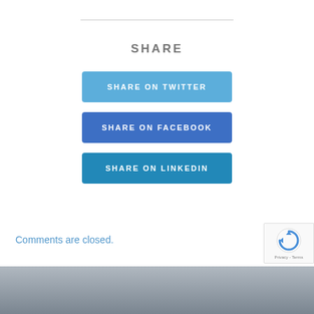SHARE
[Figure (infographic): Three share buttons: SHARE ON TWITTER (light blue), SHARE ON FACEBOOK (medium blue), SHARE ON LINKEDIN (dark blue)]
Comments are closed.
[Figure (logo): reCAPTCHA badge with circular arrow icon and Privacy/Terms text]
[Figure (photo): Partial footer image showing a gray/blue outdoor scene]